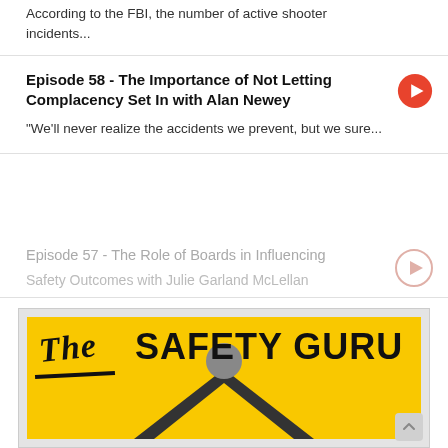According to the FBI, the number of active shooter incidents...
Episode 58 - The Importance of Not Letting Complacency Set In with Alan Newey
"We'll never realize the accidents we prevent, but we sure...
Episode 57 - The Role of Boards in Influencing Safety Outcomes with Julie Garland McLellan
[Figure (logo): The Safety Guru podcast logo on yellow background with stylized text and person silhouette]